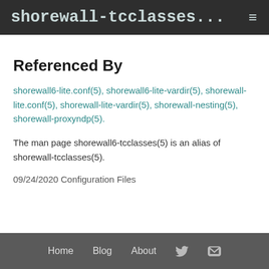shorewall-tcclasses...
Referenced By
shorewall6-lite.conf(5), shorewall6-lite-vardir(5), shorewall-lite.conf(5), shorewall-lite-vardir(5), shorewall-nesting(5), shorewall-proxyndp(5).
The man page shorewall6-tcclasses(5) is an alias of shorewall-tcclasses(5).
09/24/2020 Configuration Files
Home  Blog  About